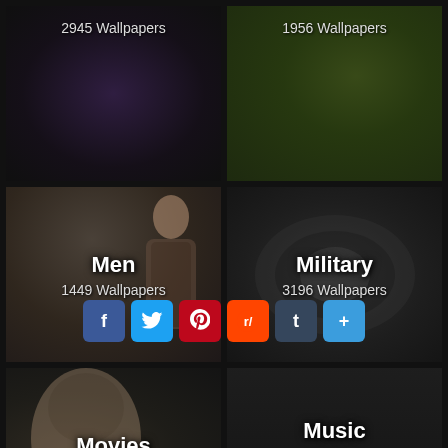[Figure (screenshot): Category tile showing 2945 Wallpapers - Five Nights at Freddy's themed dark purple background]
[Figure (screenshot): Category tile showing 1956 Wallpapers - love/hearts themed green bokeh background]
[Figure (screenshot): Category tile: Men - 1449 Wallpapers, woman in leopard print dress on grey background]
[Figure (screenshot): Category tile: Military - 3196 Wallpapers, dark metallic military equipment]
[Figure (screenshot): Category tile: Movies - 17173 Wallpapers, dark moody face close-up]
[Figure (screenshot): Category tile: Music - 10312 Wallpapers, dark background with small album thumbnails at bottom]
[Figure (screenshot): Partial category tile at bottom - Nature category (text cut off)]
[Figure (screenshot): Partial category tile at bottom - Other category (text cut off)]
Social sharing bar with Facebook, Twitter, Pinterest, Reddit, Tumblr, and Share buttons